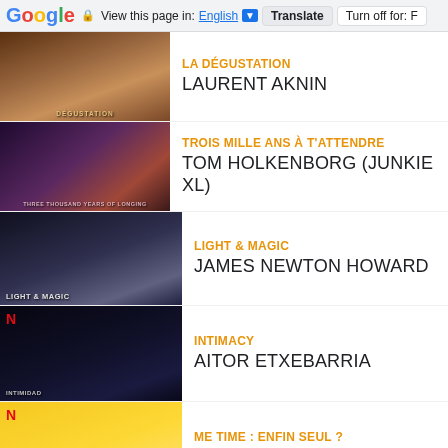Google  View this page in: English ▼  Translate  Turn off for: F
LA DÉGUSTATION / LAURENT AKNIN
TROIS MILLE ANS À T'ATTENDRE / TOM HOLKENBORG (JUNKIE XL)
LIGHT & MAGIC / JAMES NEWTON HOWARD
INTIMACY / AITOR ETXEBARRIA
ME TIME : ENFIN SEUL ? / JEFF CARDONI